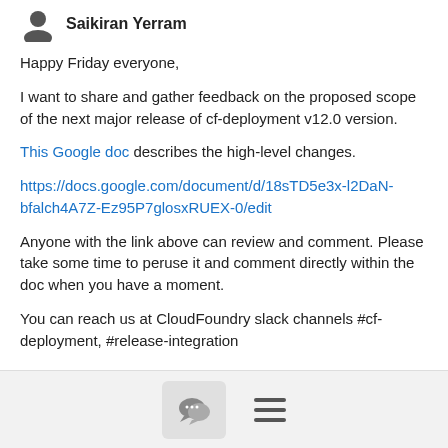[Figure (illustration): User avatar icon (silhouette) with name Saikiran Yerram]
Happy Friday everyone,
I want to share and gather feedback on the proposed scope of the next major release of cf-deployment v12.0 version.
This Google doc describes the high-level changes.
https://docs.google.com/document/d/18sTD5e3x-l2DaN-bfalch4A7Z-Ez95P7glosxRUEX-0/edit
Anyone with the link above can review and comment. Please take some time to peruse it and comment directly within the doc when you have a moment.
You can reach us at CloudFoundry slack channels #cf-deployment, #release-integration
[Figure (screenshot): Footer bar with chat bubble icon button and hamburger menu icon]